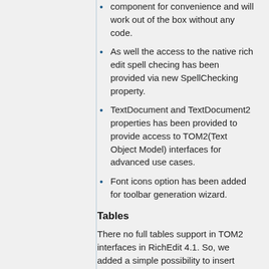component for convenience and will work out of the box without any code.
As well the access to the native rich edit spell checing has been provided via new SpellChecking property.
TextDocument and TextDocument2 properties has been provided to provide access to TOM2(Text Object Model) interfaces for advanced use cases.
Font icons option has been added for toolbar generation wizard.
Tables
There no full tables support in TOM2 interfaces in RichEdit 4.1. So, we added a simple possibility to insert tables, which works like the following: